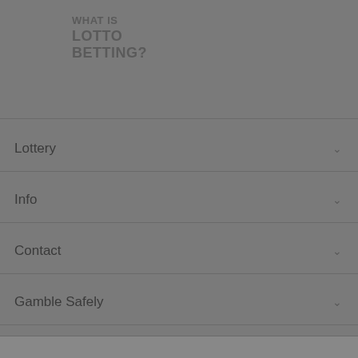WHAT IS LOTTO BETTING?
Lottery
Info
Contact
Gamble Safely
Country